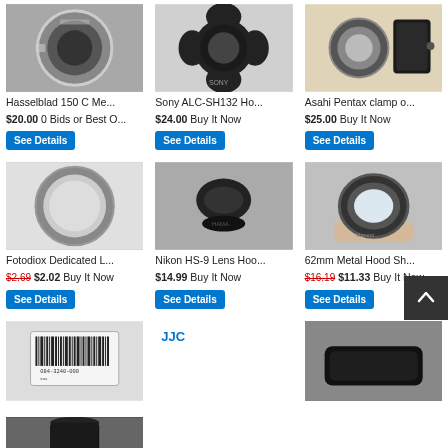[Figure (photo): Hasselblad 150 C lens component, metal ring, silver/chrome]
Hasselblad 150 C Me...
$20.00 0 Bids or Best O...
See Details
[Figure (photo): Sony ALC-SH132 lens hood, black, square/petal shape]
Sony ALC-SH132 Ho...
$24.00 Buy It Now
See Details
[Figure (photo): Asahi Pentax clamp on lens hood with case, circular lens hood and black case]
Asahi Pentax clamp o...
$25.00 Buy It Now
See Details
[Figure (photo): Fotodiox Dedicated lens mount adapter, circular gray rubber ring]
Fotodiox Dedicated L...
$2.69 $2.02 Buy It Now
See Details
[Figure (photo): Nikon HS-9 Lens Hood with lens cap, small black lens hood]
Nikon HS-9 Lens Hoo...
$14.99 Buy It Now
See Details
[Figure (photo): 62mm Metal Hood Shield, black metal lens hood held in hand]
62mm Metal Hood Sh...
$16.19 $11.33 Buy It Now
See Details
[Figure (photo): Product with barcode label, packaged item]
JJC
[Figure (photo): Flat square/rectangular black lens hood]
[Figure (photo): JJC cylindrical black lens hood, tall tube shape]